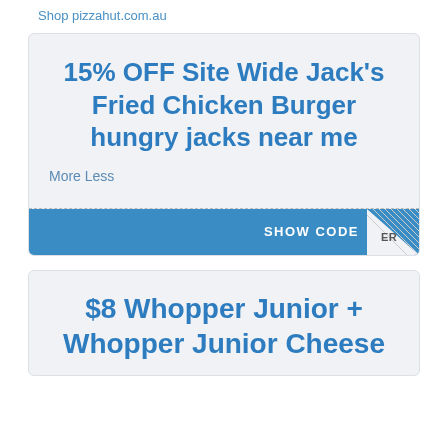Shop pizzahut.com.au
15% OFF Site Wide Jack's Fried Chicken Burger hungry jacks near me
More Less
[Figure (other): Blue button with 'SHOW CODE' text and hatched corner reveal tab]
$8 Whopper Junior + Whopper Junior Cheese